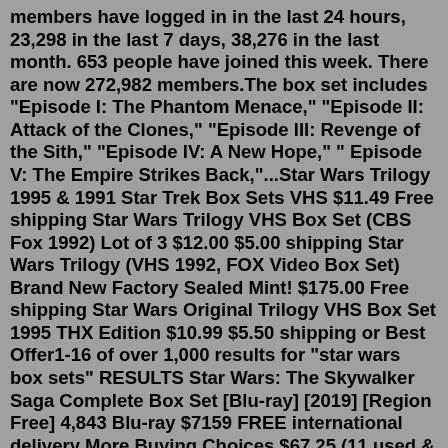members have logged in in the last 24 hours, 23,298 in the last 7 days, 38,276 in the last month. 653 people have joined this week. There are now 272,982 members.The box set includes "Episode I: The Phantom Menace," "Episode II: Attack of the Clones," "Episode III: Revenge of the Sith," "Episode IV: A New Hope," " Episode V: The Empire Strikes Back,"...Star Wars Trilogy 1995 & 1991 Star Trek Box Sets VHS $11.49 Free shipping Star Wars Trilogy VHS Box Set (CBS Fox 1992) Lot of 3 $12.00 $5.00 shipping Star Wars Trilogy (VHS 1992, FOX Video Box Set) Brand New Factory Sealed Mint! $175.00 Free shipping Star Wars Original Trilogy VHS Box Set 1995 THX Edition $10.99 $5.50 shipping or Best Offer1-16 of over 1,000 results for "star wars box sets" RESULTS Star Wars: The Skywalker Saga Complete Box Set [Blu-ray] [2019] [Region Free] 4,843 Blu-ray $7159 FREE international delivery More Buying Choices $67.25 (11 used & new offers) DVD $4934 FREE international delivery More Buying Choices $44.00 (7 used & new offers) 4K